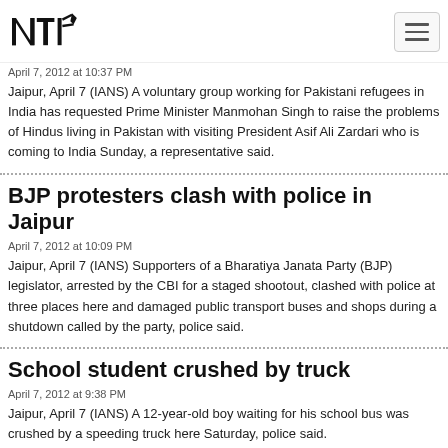NTI
April 7, 2012 at 10:37 PM
Jaipur, April 7 (IANS) A voluntary group working for Pakistani refugees in India has requested Prime Minister Manmohan Singh to raise the problems of Hindus living in Pakistan with visiting President Asif Ali Zardari who is coming to India Sunday, a representative said.
BJP protesters clash with police in Jaipur
April 7, 2012 at 10:09 PM
Jaipur, April 7 (IANS) Supporters of a Bharatiya Janata Party (BJP) legislator, arrested by the CBI for a staged shootout, clashed with police at three places here and damaged public transport buses and shops during a shutdown called by the party, police said.
School student crushed by truck
April 7, 2012 at 9:38 PM
Jaipur, April 7 (IANS) A 12-year-old boy waiting for his school bus was crushed by a speeding truck here Saturday, police said.
IANS journalist wins award